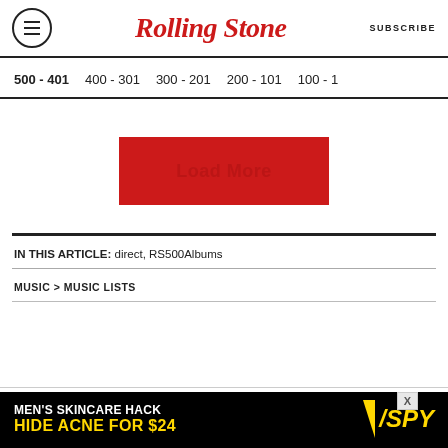Rolling Stone — SUBSCRIBE
500 - 401
400 - 301
300 - 201
200 - 101
100 - 1
[Figure (other): Red 'Load More' button]
IN THIS ARTICLE: direct, RS500Albums
MUSIC > MUSIC LISTS
[Figure (other): Advertisement banner: MEN'S SKINCARE HACK HIDE ACNE FOR $24 — SPY logo]